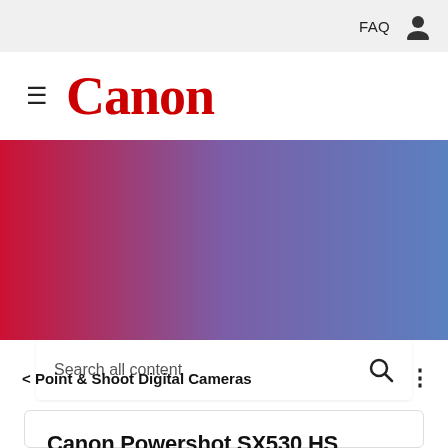FAQ
[Figure (logo): Canon logo with hamburger menu icon]
[Figure (other): Red to purple gradient hero banner with search box containing placeholder text 'Search all content' and a search icon]
< Point & Shoot Digital Cameras
Canon Powershot SX530 HS